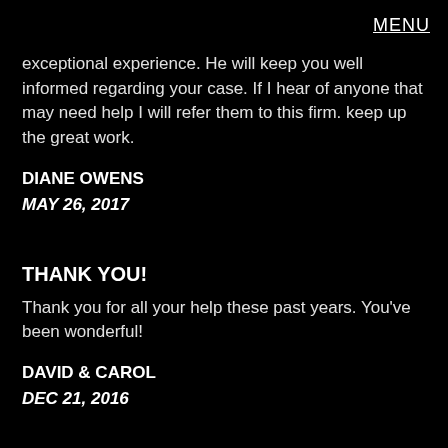MENU
exceptional experience. He will keep you well informed regarding your case. If I hear of anyone that may need help I will refer them to this firm. keep up the great work.
DIANE OWENS
MAY 26, 2017
THANK YOU!
Thank you for all your help these past years. You've been wonderful!
DAVID & CAROL
DEC 21, 2016